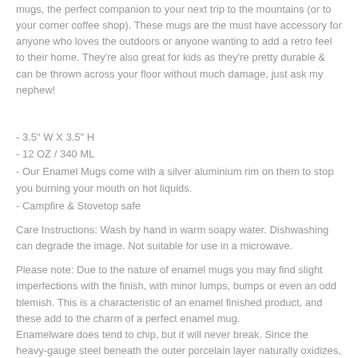mugs, the perfect companion to your next trip to the mountains (or to your corner coffee shop). These mugs are the must have accessory for anyone who loves the outdoors or anyone wanting to add a retro feel to their home. They're also great for kids as they're pretty durable & can be thrown across your floor without much damage, just ask my nephew!
- 3.5" W X 3.5" H
- 12 OZ / 340 ML
- Our Enamel Mugs come with a silver aluminium rim on them to stop you burning your mouth on hot liquids.
- Campfire & Stovetop safe
Care Instructions: Wash by hand in warm soapy water. Dishwashing can degrade the image. Not suitable for use in a microwave.
Please note: Due to the nature of enamel mugs you may find slight imperfections with the finish, with minor lumps, bumps or even an odd blemish. This is a characteristic of an enamel finished product, and these add to the charm of a perfect enamel mug. Enamelware does tend to chip, but it will never break. Since the heavy-gauge steel beneath the outer porcelain layer naturally oxidizes, these enamel mugs are still safe to use after chipping. Plus, the chips add character. Due to screen & monitor settings colours may vary.